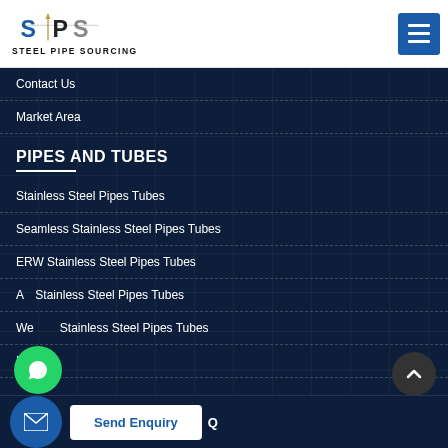[Figure (logo): Steel Pipe Sourcing logo with SPS text and steel pipe icon]
Contact Us
Market Area
PIPES AND TUBES
Stainless Steel Pipes Tubes
Seamless Stainless Steel Pipes Tubes
ERW Stainless Steel Pipes Tubes
AS Stainless Steel Pipes Tubes
Welded Stainless Steel Pipes Tubes
More
Q
Send Enquiry